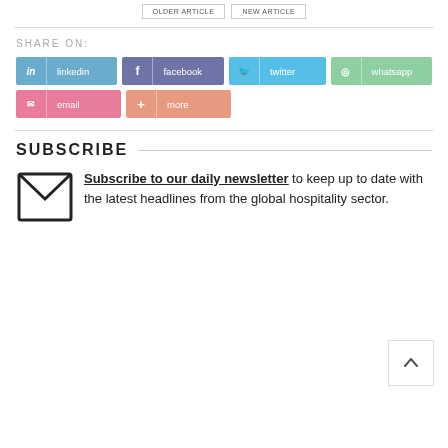[Figure (screenshot): Two partially visible navigation/article buttons at the top]
SHARE ON:
[Figure (infographic): Social share buttons: linkedin, facebook, twitter, whatsapp, email, more]
SUBSCRIBE
Subscribe to our daily newsletter to keep up to date with the latest headlines from the global hospitality sector.